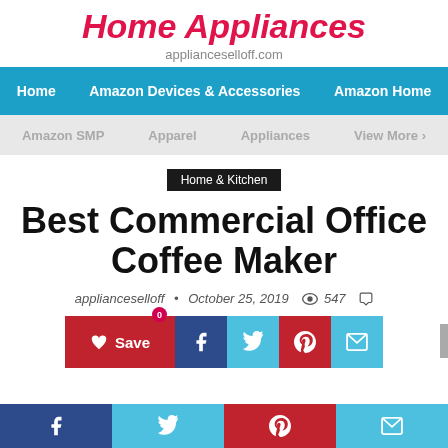Home Appliances
applianceselloff.com
Home | Amazon Devices & Accessories | Amazon Home
Amazon SMP | Apparel | Appliances | View More >
Home & Kitchen
Best Commercial Office Coffee Maker
applianceselloff • October 25, 2019 👁 547 💬
[Figure (other): Social share buttons: Save, Facebook, Twitter, Pinterest, Email]
Social share footer bar: Facebook, Twitter, Pinterest, Email